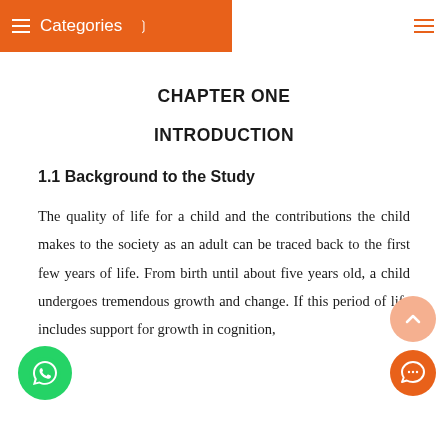Categories
CHAPTER ONE
INTRODUCTION
1.1 Background to the Study
The quality of life for a child and the contributions the child makes to the society as an adult can be traced back to the first few years of life. From birth until about five years old, a child undergoes tremendous growth and change. If this period of life includes support for growth in cognition,